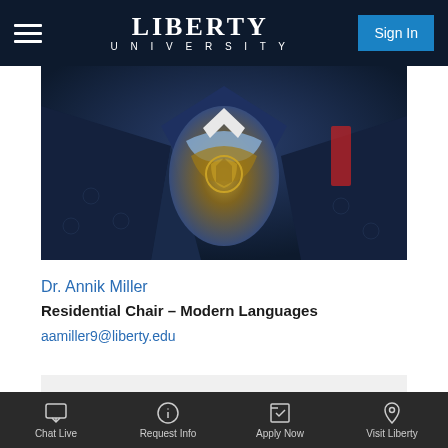LIBERTY UNIVERSITY | Sign In
[Figure (photo): Close-up photo of a person wearing a navy blue jacket and an ornate gold and blue scarf/necktie]
Dr. Annik Miller
Residential Chair – Modern Languages
aamiller9@liberty.edu
Chat Live | Request Info | Apply Now | Visit Liberty